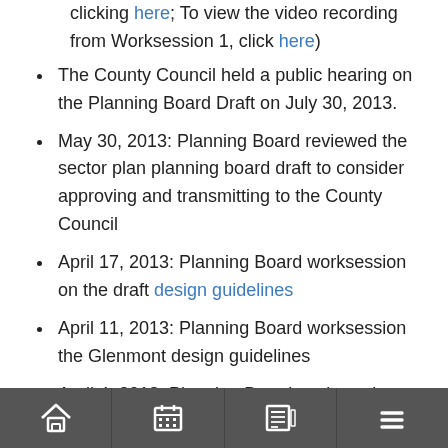clicking here; To view the video recording from Worksession 1, click here)
The County Council held a public hearing on the Planning Board Draft on July 30, 2013.
May 30, 2013: Planning Board reviewed the sector plan planning board draft to consider approving and transmitting to the County Council
April 17, 2013: Planning Board worksession on the draft design guidelines
April 11, 2013: Planning Board worksession the Glenmont design guidelines
April 4, 2013: Planning Board worksession (remaining topics)
Navigation bar with home, calendar, news, and menu icons